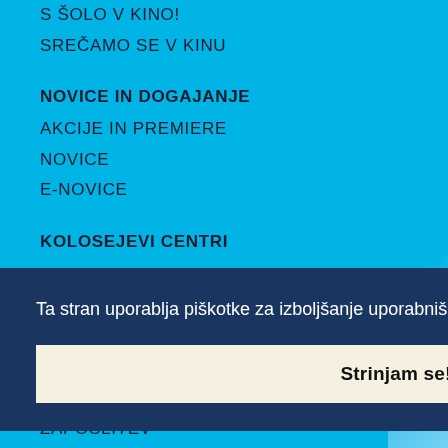S ŠOLO V KINO!
SREČAMO SE V KINU
NOVICE IN DOGAJANJE
AKCIJE IN PREMIERE
NOVICE
E-NOVICE
KOLOSEJEVI CENTRI
Ta stran uporablja piškotke za izboljšanje uporabniške izkušnje. Podrobnosti
Strinjam se!
ZAPOSLITEV